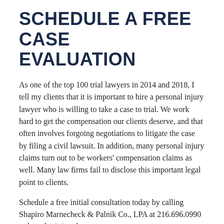SCHEDULE A FREE CASE EVALUATION
As one of the top 100 trial lawyers in 2014 and 2018, I tell my clients that it is important to hire a personal injury lawyer who is willing to take a case to trial. We work hard to get the compensation our clients deserve, and that often involves forgoing negotiations to litigate the case by filing a civil lawsuit. In addition, many personal injury claims turn out to be workers' compensation claims as well. Many law firms fail to disclose this important legal point to clients.
Schedule a free initial consultation today by calling Shapiro Marnecheck & Palnik Co., LPA at 216.696.0990 or by submitting the